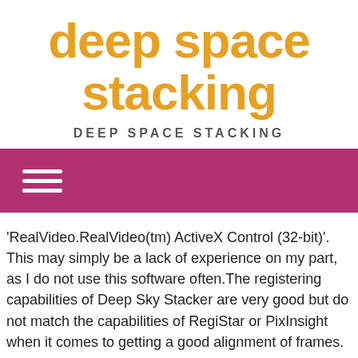deep space stacking
DEEP SPACE STACKING
[Figure (other): Hamburger menu icon (three white horizontal lines) on a dark pink/magenta navigation bar]
'RealVideo.RealVideo(tm) ActiveX Control (32-bit)'. This may simply be a lack of experience on my part, as I do not use this software often.The registering capabilities of Deep Sky Stacker are very good but do not match the capabilities of RegiStar or PixInsight when it comes to getting a good alignment of frames.